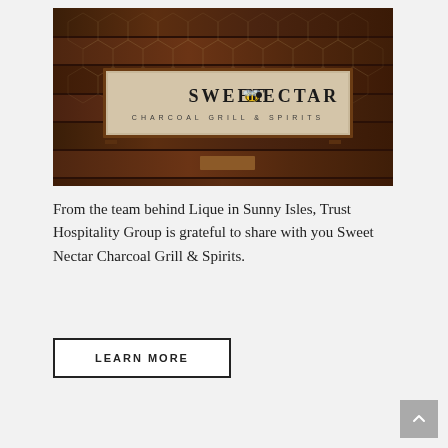[Figure (photo): Sweet Nectar Charcoal Grill & Spirits sign mounted on a dark wood plank wall with honeycomb pattern. The sign is a light-colored rectangular board with the text 'SWEET NECTAR' in large letters with a bumblebee illustration, and 'CHARCOAL GRILL & SPIRITS' in smaller text below.]
From the team behind Lique in Sunny Isles, Trust Hospitality Group is grateful to share with you Sweet Nectar Charcoal Grill & Spirits.
LEARN MORE